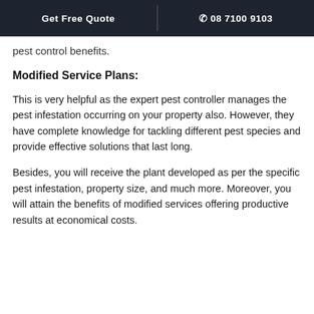Get Free Quote | ☎ 08 7100 9103
pest control benefits.
Modified Service Plans:
This is very helpful as the expert pest controller manages the pest infestation occurring on your property also. However, they have complete knowledge for tackling different pest species and provide effective solutions that last long.
Besides, you will receive the plant developed as per the specific pest infestation, property size, and much more. Moreover, you will attain the benefits of modified services offering productive results at economical costs.